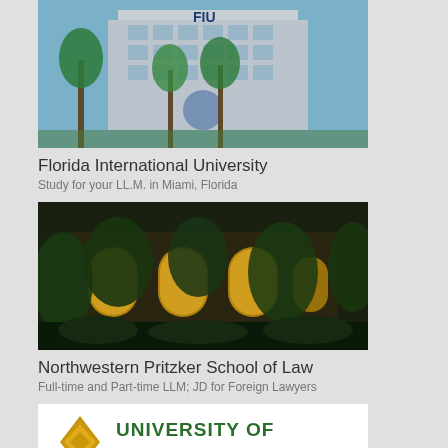[Figure (photo): FIU building exterior with palm trees and blue sky]
Florida International University
Study for your LL.M. in Miami, Florida
[Figure (photo): Northwestern Pritzker School of Law building with arched windows and trees at dusk]
Northwestern Pritzker School of Law
Full-time and Part-time LLM; JD for Foreign Lawyers
[Figure (logo): University of San Francisco logo with diamond icon in gold and green text]